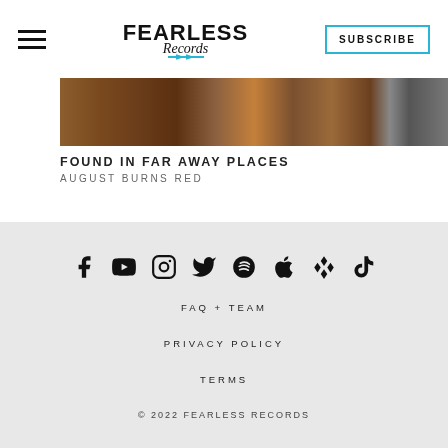Fearless Records — SUBSCRIBE
[Figure (photo): Album cover strip for 'Found in Far Away Places' by August Burns Red — earthy brown and orange textured imagery with distant dark elements]
FOUND IN FAR AWAY PLACES
AUGUST BURNS RED
[Figure (infographic): Social media icons row: Facebook, YouTube, Instagram, Twitter, Spotify, Apple, Tidal, TikTok]
FAQ + TEAM
PRIVACY POLICY
TERMS
© 2022 FEARLESS RECORDS